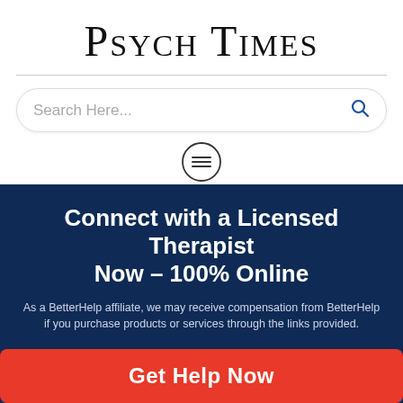Psych Times
[Figure (screenshot): Search bar with placeholder text 'Search Here...' and a blue search icon on the right]
[Figure (other): Menu hamburger icon inside a circle]
Advertisements
Connect with a Licensed Therapist Now - 100% Online
As a BetterHelp affiliate, we may receive compensation from BetterHelp if you purchase products or services through the links provided.
Get Help Now